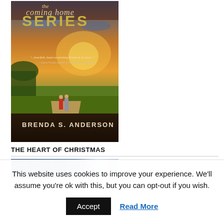[Figure (illustration): Book cover for 'The Coming Home Series' by Brenda S. Anderson. Shows couple walking down a country path through green fields at sunset, with the series title in large text at top and author name at bottom. Quote: '...heartfelt, heart-wrenching fiction at its best...' —Laura Frantz, author of The Mistress of Tall Acre]
THE HEART OF CHRISTMAS
[Figure (illustration): Partial view of another book cover strip, blue/night sky theme, partially visible at bottom]
This website uses cookies to improve your experience. We'll assume you're ok with this, but you can opt-out if you wish.